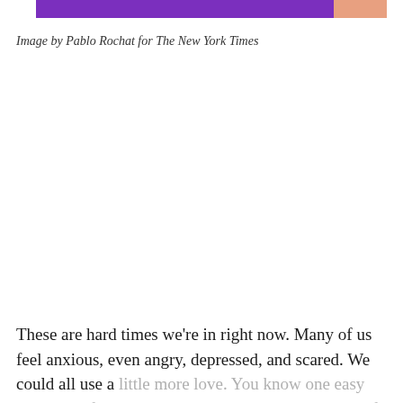[Figure (photo): Cropped image strip at top showing purple background on the left and a person's skin/face on the right]
Image by Pablo Rochat for The New York Times
These are hard times we're in right now. Many of us feel anxious, even angry, depressed, and scared. We could all use a little more love. You know one easy and pretty fast way to spread love and make yourself and someone else feel better?